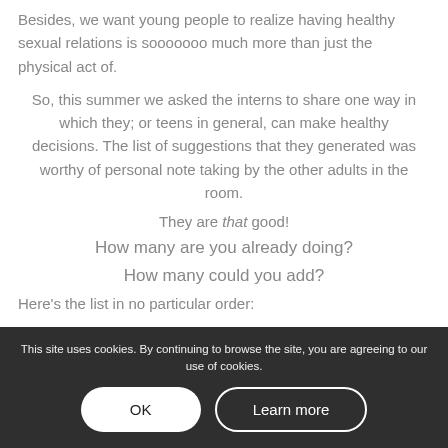Besides, we want young people to realize having healthy sexual relations is sooooooo much more than just the physical act of.
So, this summer we asked the interns to share one way in which they; or teens in general, can make healthy decisions. The list of suggestions that they generated was worthy of personal note taking by the other adults in the room.
They are that good!
How many are you already doing?
How many could you add?
Here's the list in no particular order:
This site uses cookies. By continuing to browse the site, you are agreeing to our use of cookies.